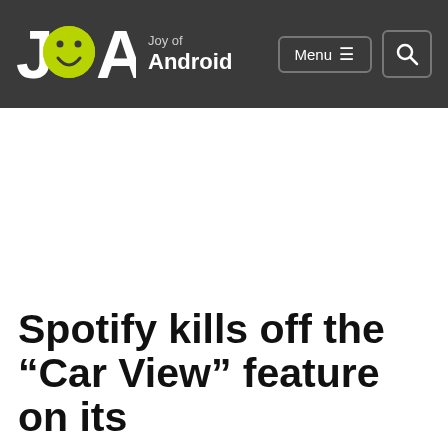Joy of Android — Menu | Search
Spotify kills off the “Car View” feature on its
[Figure (other): Social share buttons: Facebook (blue), Twitter (cyan), WhatsApp (green)]